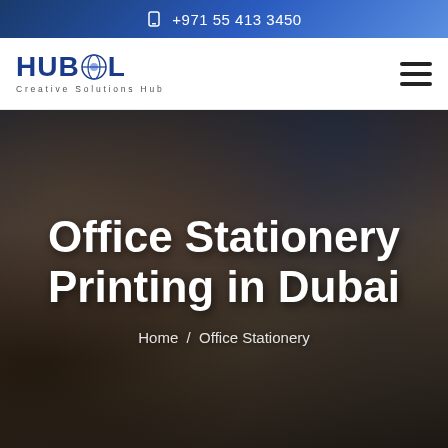+971 55 413 3450
[Figure (logo): HUBSOL Creative Solutions Hub logo with globe icon in blue]
Office Stationery Printing in Dubai
Home / Office Stationery